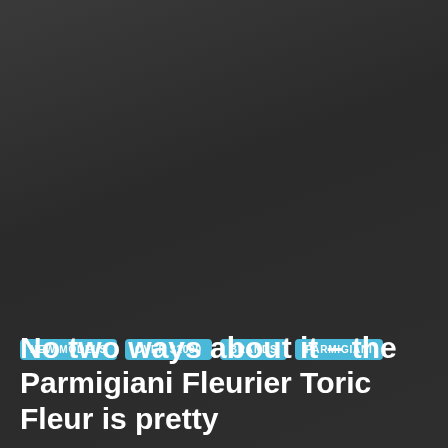[Figure (photo): Dark gradient background image, predominantly dark gray/charcoal tones, likely showing a watch or luxury item that is mostly obscured by the dark overlay.]
NEW MODELS
OVER $1000
BRANDS
PARMIGIANI
No two ways about it – the Parmigiani Fleurier Toric Fleur is pretty